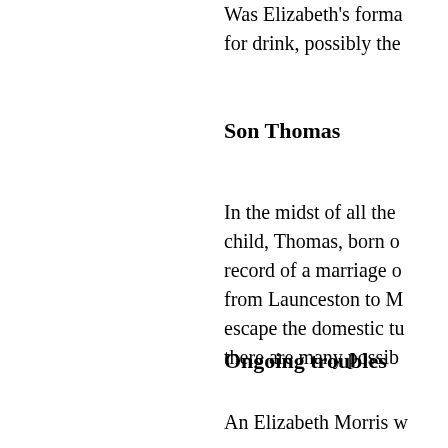Was Elizabeth's forma for drink, possibly the
Son Thomas
In the midst of all the child, Thomas, born o record of a marriage o from Launceston to M escape the domestic tu there are many possib
Ongoing troubles
An Elizabeth Morris w South Sea Traveller'[5 Elizabeth? It is quite p
In November 1842, El